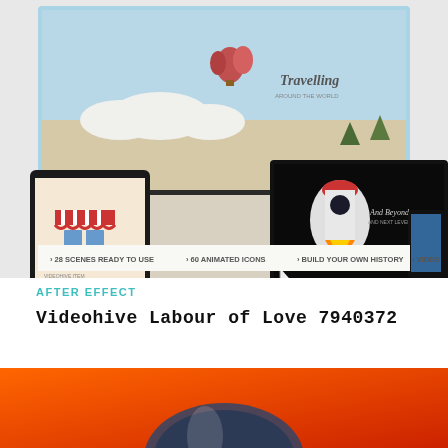[Figure (screenshot): Promotional screenshot showing multiple devices (monitor, laptop, tablet, smartphone) displaying animated motion graphics scenes including a travelling scene with hot air balloon, a rocket/moon scene, and a shop scene labeled 'Labour of Love'. Bottom bar reads: 28 SCENES READY TO USE · 60 ANIMATED ICONS · BUILD YOUR OWN HISTORY · VIDEO]
AFTER EFFECT
Videohive Labour of Love 7940372
[Figure (photo): Partial image with orange/red gradient background, partially visible object at the bottom of the page]